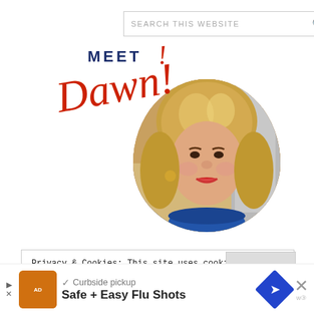[Figure (screenshot): Search bar with placeholder text 'SEARCH THIS WEBSITE' and magnifying glass icon]
[Figure (photo): Circular portrait photo of a woman named Dawn with curly blonde hair and a blue top, overlaid with decorative text 'MEET Dawn!' in navy and red script]
Privacy & Cookies: This site uses cookies. By continuing to use this website, you agree to their use.
To find out more, including how to control cookies, see here: Privacy Policy
[Figure (screenshot): Advertisement banner with logo, checkmark, 'Curbside pickup', 'Safe + Easy Flu Shots' text, navigation arrow icon, and close button]